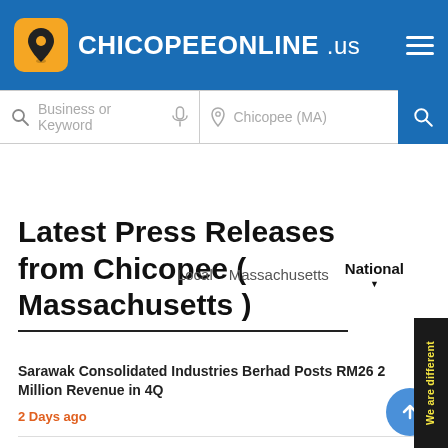CHICOPEEONLINE .us
Business or Keyword   Chicopee (MA)
Latest Press Releases from Chicopee ( Massachusetts )
Local   Massachusetts   National
We are different
Sarawak Consolidated Industries Berhad Posts RM26 2 Million Revenue in 4Q
2 Days ago